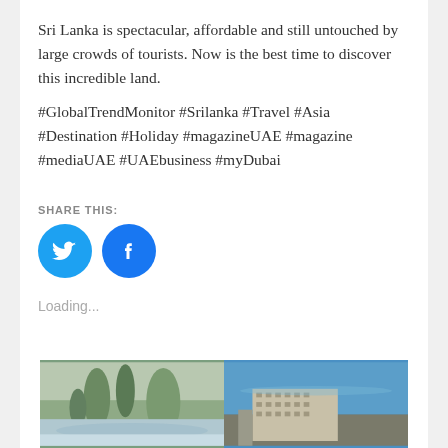Sri Lanka is spectacular, affordable and still untouched by large crowds of tourists. Now is the best time to discover this incredible land.
#GlobalTrendMonitor #Srilanka #Travel #Asia #Destination #Holiday #magazineUAE #magazine #mediaUAE #UAEbusiness #myDubai
SHARE THIS:
[Figure (other): Twitter share button - cyan circle with white Twitter bird icon]
[Figure (other): Facebook share button - blue circle with white Facebook f icon]
Loading...
[Figure (photo): Thumbnail photo of karst rock formations and beach landscape]
[Figure (photo): Thumbnail photo of a large hotel building on a coastal cliff with blue sea]